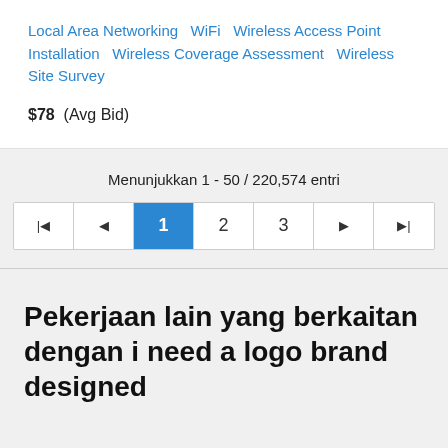Local Area Networking   WiFi   Wireless Access Point Installation   Wireless Coverage Assessment   Wireless Site Survey
$78  (Avg Bid)
Menunjukkan 1 - 50 / 220,574 entri
Pagination: |◄  ◄  1  2  3  ►  ►|
Pekerjaan lain yang berkaitan dengan i need a logo brand designed